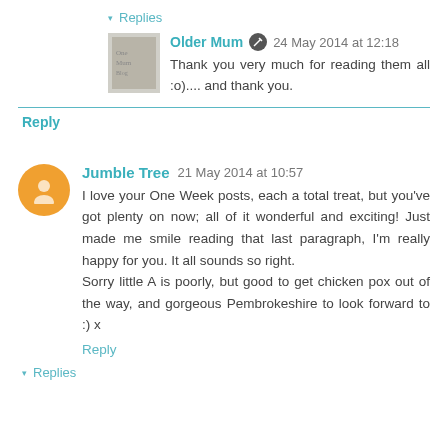▾ Replies
Older Mum  24 May 2014 at 12:18
Thank you very much for reading them all :o).... and thank you.
Reply
Jumble Tree  21 May 2014 at 10:57
I love your One Week posts, each a total treat, but you've got plenty on now; all of it wonderful and exciting! Just made me smile reading that last paragraph, I'm really happy for you. It all sounds so right.
Sorry little A is poorly, but good to get chicken pox out of the way, and gorgeous Pembrokeshire to look forward to :) x
Reply
▾ Replies